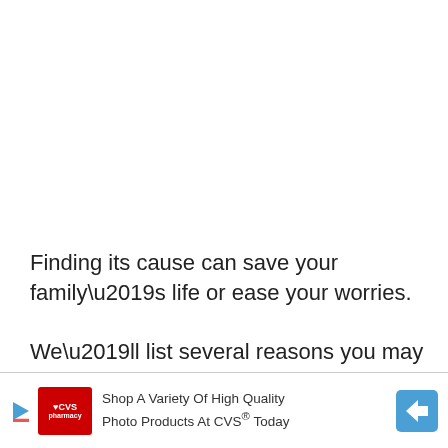Finding its cause can save your family’s life or ease your worries.
We’ll list several reasons you may smell gasoline in your home.
[Figure (other): CVS Pharmacy advertisement banner: 'Shop A Variety Of High Quality Photo Products At CVS® Today']